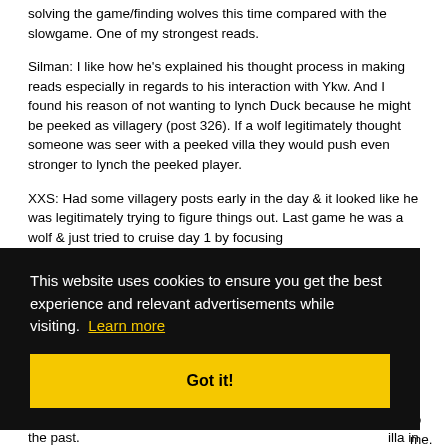solving the game/finding wolves this time compared with the slowgame. One of my strongest reads.
Silman: I like how he's explained his thought process in making reads especially in regards to his interaction with Ykw. And I found his reason of not wanting to lynch Duck because he might be peeked as villagery (post 326). If a wolf legitimately thought someone was seer with a peeked villa they would push even stronger to lynch the peeked player.
XXS: Had some villagery posts early in the day & it looked like he was legitimately trying to figure things out. Last game he was a wolf & just tried to cruise day 1 by focusing ... to see ... t he's ... to ... me.
[Figure (screenshot): Cookie consent overlay on dark background. Text: 'This website uses cookies to ensure you get the best experience and relevant advertisements while visiting. Learn more' with a yellow 'Got it!' button.]
...villa in the past.